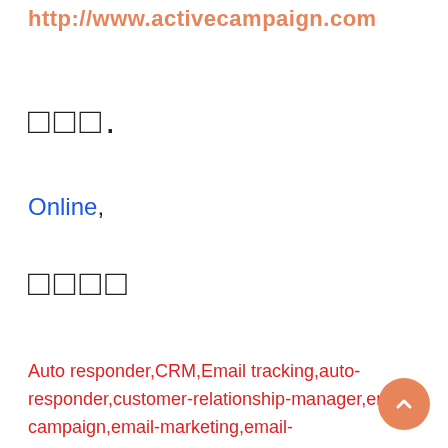http://www.activecampaign.com
□□□.
Online,
□□□□
Auto responder,CRM,Email tracking,auto-responder,customer-relationship-manager,email-campaign,email-marketing,email-newsletter,email-tracking,mailing-list,marketing,marketing-automation,newsletter,newsletter-campaigns-delivery,newsletters,sales,